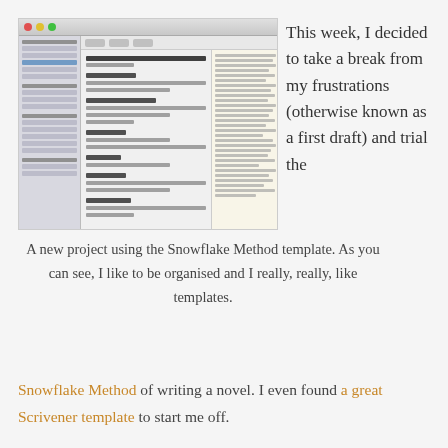[Figure (screenshot): Screenshot of Scrivener application showing the Snowflake Method template with sidebar, editor pane showing Name/Title/rank fields and sections like Summary, Assassination scenes, Solution, Goal, Notes, and a right panel with a yellowish document preview.]
A new project using the Snowflake Method template. As you can see, I like to be organised and I really, really, like templates.
This week, I decided to take a break from my frustrations (otherwise known as a first draft) and trial the Snowflake Method of writing a novel. I even found a great Scrivener template to start me off.